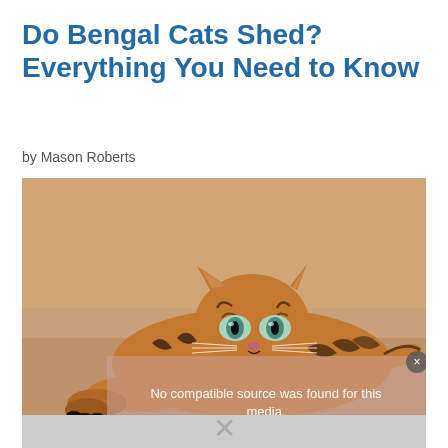Do Bengal Cats Shed? Everything You Need to Know
by Mason Roberts
[Figure (photo): A Bengal cat lying on a wooden floor, looking up at the camera with striking blue-green eyes. The cat has distinctive orange and black striped markings. Below the cat photo is a video player overlay showing 'No compatible source was found for this media.' with a close button and a gray placeholder area with an X.]